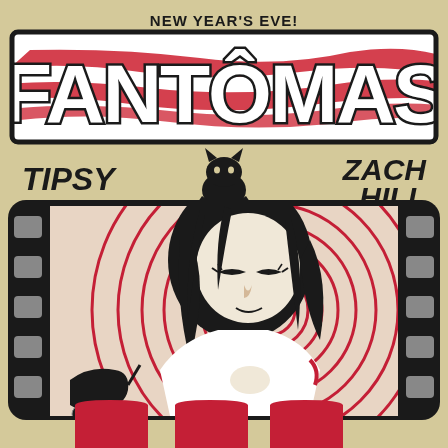NEW YEAR'S EVE! FANTÔMAS
TIPSY  ZACH HILL
[Figure (illustration): Concert poster for Fantômas New Year's Eve show featuring Tipsy and Zach Hill. Large stylized FANTÔMAS lettering in white with red paint strokes and black outline at top. Below are the support acts TIPSY and ZACH HILL flanking a black cat silhouette. Main image shows a film strip frame containing a black and white illustration of a woman with dark hair looking down, with a baby carriage in the lower left and concentric pink/red spiral circles in the background. At the bottom are red dripping mushroom-like shapes on a tan/cream background.]